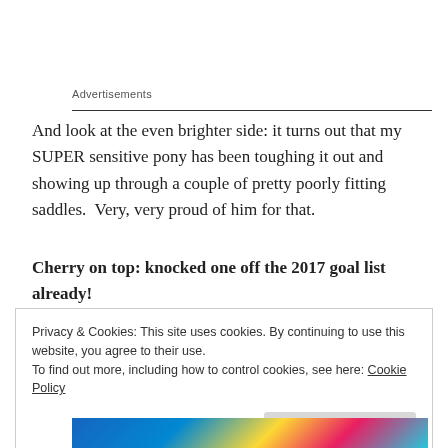Advertisements
And look at the even brighter side: it turns out that my SUPER sensitive pony has been toughing it out and showing up through a couple of pretty poorly fitting saddles.  Very, very proud of him for that.
Cherry on top: knocked one off the 2017 goal list already!
Privacy & Cookies: This site uses cookies. By continuing to use this website, you agree to their use.
To find out more, including how to control cookies, see here: Cookie Policy
Close and accept
[Figure (photo): Colorful banner image at bottom of page with blue, yellow, and pink colors]